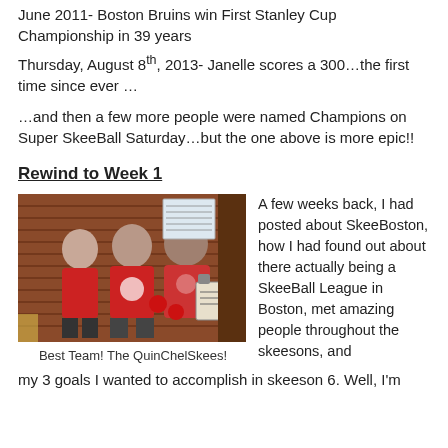June 2011- Boston Bruins win First Stanley Cup Championship in 39 years
Thursday, August 8th, 2013- Janelle scores a 300…the first time since ever …
…and then a few more people were named Champions on Super SkeeBall Saturday…but the one above is more epic!!
Rewind to Week 1
[Figure (photo): Three people in red and white baseball-style shirts posing together against a brick wall background. They are smiling at the camera.]
Best Team! The QuinChelSkees!
A few weeks back, I had posted about SkeeBoston, how I had found out about there actually being a SkeeBall League in Boston, met amazing people throughout the skeesons, and
my 3 goals I wanted to accomplish in skeeson 6. Well, I'm